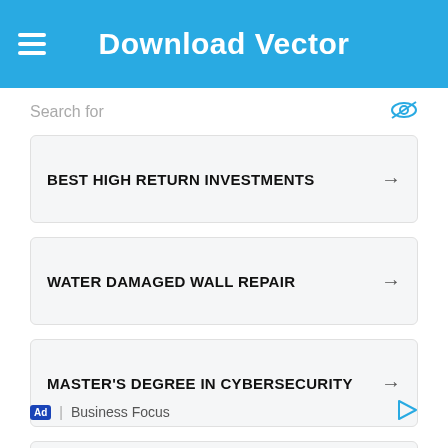Download Vector
Search for
BEST HIGH RETURN INVESTMENTS
WATER DAMAGED WALL REPAIR
MASTER'S DEGREE IN CYBERSECURITY
VALUE OF MY USED CAR
TOP STOCKS TO BUY
Ad | Business Focus